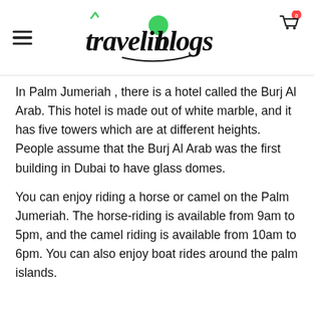travelinblogs
In Palm Jumeriah , there is a hotel called the Burj Al Arab. This hotel is made out of white marble, and it has five towers which are at different heights. People assume that the Burj Al Arab was the first building in Dubai to have glass domes.
You can enjoy riding a horse or camel on the Palm Jumeriah. The horse-riding is available from 9am to 5pm, and the camel riding is available from 10am to 6pm. You can also enjoy boat rides around the palm islands.